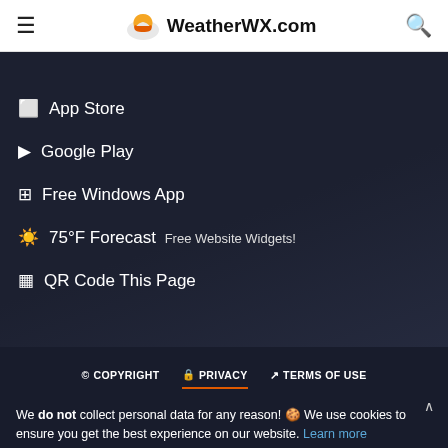WeatherWX.com
App Store
Google Play
Free Windows App
75°F Forecast  Free Website Widgets!
QR Code This Page
© COPYRIGHT   🔒 PRIVACY   ↗ TERMS OF USE
We do not collect personal data for any reason! 🍪 We use cookies to ensure you get the best experience on our website. Learn more
I AGREE